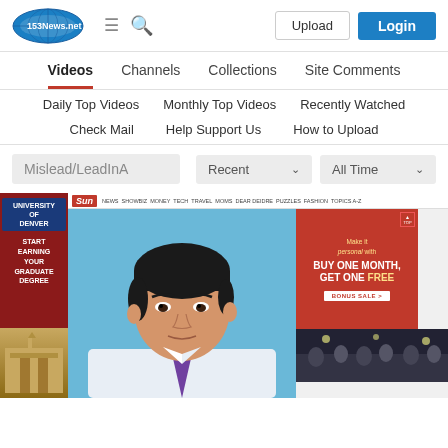[Figure (screenshot): 153News.net website header with logo, hamburger menu, search icon, Upload button, and blue Login button]
Videos  Channels  Collections  Site Comments
Daily Top Videos   Monthly Top Videos   Recently Watched
Check Mail   Help Support Us   How to Upload
Mislead/LeadInA  Recent ∨  All Time ∨
[Figure (screenshot): Screenshot of a webpage showing The Sun newspaper site with a portrait photo of an Asian man in a white shirt and purple tie against a blue background, plus a red advertisement for a subscription deal 'Buy One Month, Get One Free', a left sidebar ad for University of Denver graduate degree, and a 'More from the Sun' thumbnail strip at the bottom.]